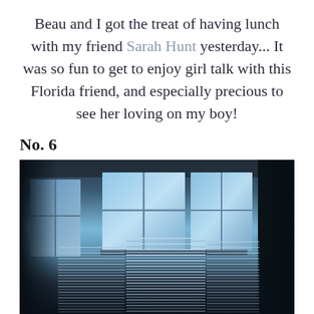Beau and I got the treat of having lunch with my friend Sarah Hunt yesterday... It was so fun to get to enjoy girl talk with this Florida friend, and especially precious to see her loving on my boy!
No. 6
[Figure (photo): A blurry indoor photo showing stacked clear plastic cups in the foreground, with two large windows in the background letting in blue-tinted daylight. The room is dimly lit with dark walls on the sides.]